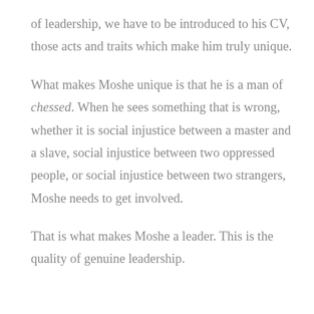of leadership, we have to be introduced to his CV, those acts and traits which make him truly unique.
What makes Moshe unique is that he is a man of chessed. When he sees something that is wrong, whether it is social injustice between a master and a slave, social injustice between two oppressed people, or social injustice between two strangers, Moshe needs to get involved.
That is what makes Moshe a leader. This is the quality of genuine leadership.